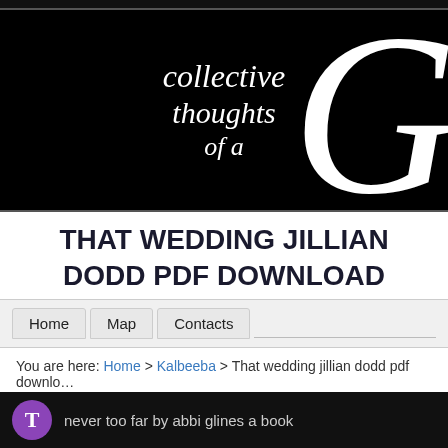[Figure (illustration): Blog header banner with black background, cursive white text reading 'collective thoughts of a' and a large decorative letter G on the right]
THAT WEDDING JILLIAN DODD PDF DOWNLOAD
Home   Map   Contacts
You are here: Home > Kalbeeba > That wedding jillian dodd pdf download
[Figure (illustration): Bottom black banner with purple avatar circle containing 'T' and partially visible text 'never too far by abbi glines a book']